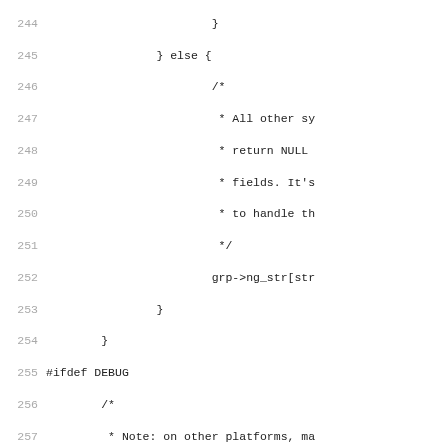Source code listing lines 244–275, C code with #ifdef DEBUG block